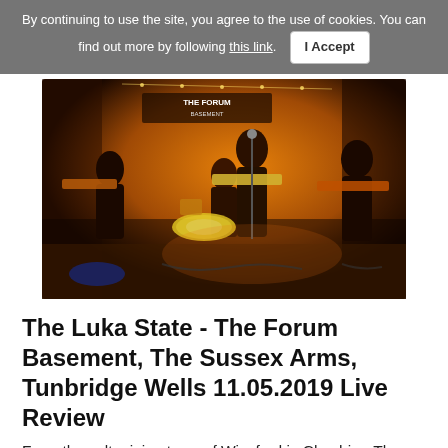By continuing to use the site, you agree to the use of cookies. You can find out more by following this link. I Accept
[Figure (photo): Band performing live on stage at The Forum Basement venue. Multiple musicians playing guitars and drums under warm amber stage lighting, with a 'THE FORUM BASEMENT' banner visible in the background.]
The Luka State - The Forum Basement, The Sussex Arms, Tunbridge Wells 11.05.2019 Live Review
From the salt mining town of Winsford in Cheshire, The Luka State came to play in the underground confines of The Forum Basement, located in The